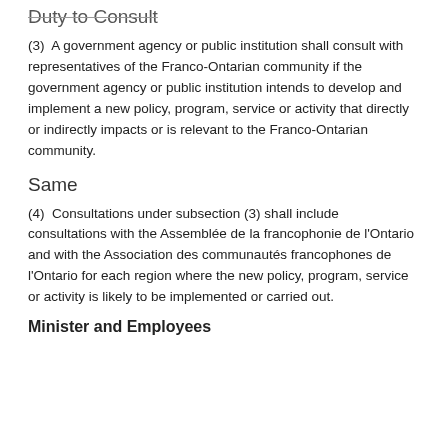Duty to Consult
(3)  A government agency or public institution shall consult with representatives of the Franco-Ontarian community if the government agency or public institution intends to develop and implement a new policy, program, service or activity that directly or indirectly impacts or is relevant to the Franco-Ontarian community.
Same
(4)  Consultations under subsection (3) shall include consultations with the Assemblée de la francophonie de l'Ontario and with the Association des communautés francophones de l'Ontario for each region where the new policy, program, service or activity is likely to be implemented or carried out.
Minister and Employees